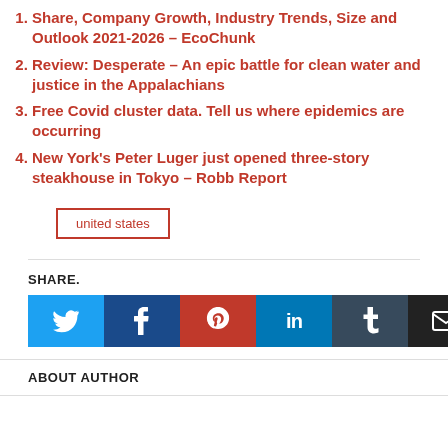Share, Company Growth, Industry Trends, Size and Outlook 2021-2026 – EcoChunk
Review: Desperate – An epic battle for clean water and justice in the Appalachians
Free Covid cluster data. Tell us where epidemics are occurring
New York's Peter Luger just opened three-story steakhouse in Tokyo – Robb Report
united states
SHARE.
[Figure (infographic): Social share buttons: Twitter (blue), Facebook (dark blue), Pinterest (red), LinkedIn (blue), Tumblr (dark blue-grey), Email (black)]
ABOUT AUTHOR